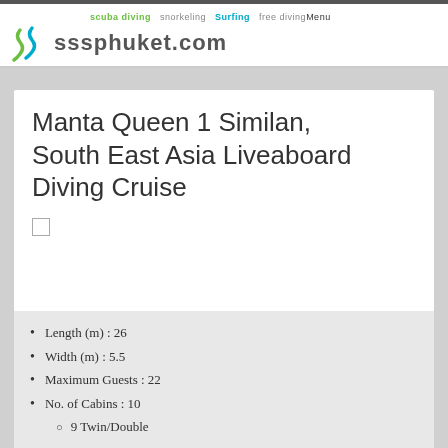scuba diving  snorkeling  Surfing  free diving  Menu  sssphuket.com
Manta Queen 1 Similan, South East Asia Liveaboard Diving Cruise
Length (m) : 26
Width (m) : 5.5
Maximum Guests : 22
No. of Cabins : 10
9 Twin/Double